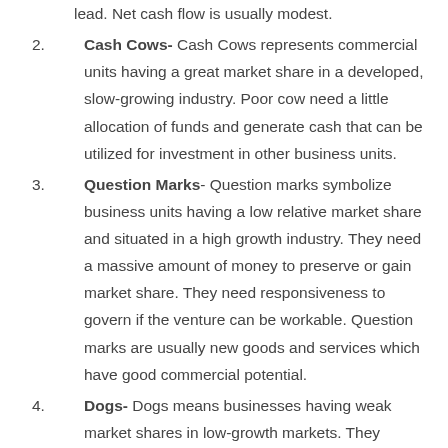lead. Net cash flow is usually modest.
Cash Cows- Cash Cows represents commercial units having a great market share in a developed, slow-growing industry. Poor cow need a little allocation of funds and generate cash that can be utilized for investment in other business units.
Question Marks- Question marks symbolize business units having a low relative market share and situated in a high growth industry. They need a massive amount of money to preserve or gain market share. They need responsiveness to govern if the venture can be workable. Question marks are usually new goods and services which have good commercial potential.
Dogs- Dogs means businesses having weak market shares in low-growth markets. They neither make...